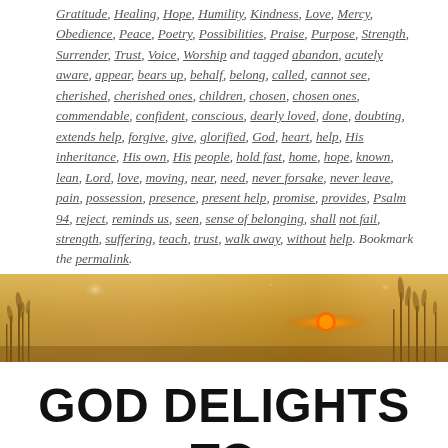Gratitude, Healing, Hope, Humility, Kindness, Love, Mercy, Obedience, Peace, Poetry, Possibilities, Praise, Purpose, Strength, Surrender, Trust, Voice, Worship and tagged abandon, acutely aware, appear, bears up, behalf, belong, called, cannot see, cherished, cherished ones, children, chosen, chosen ones, commendable, confident, conscious, dearly loved, done, doubting, extends help, forgive, give, glorified, God, heart, help, His inheritance, His own, His people, hold fast, home, hope, known, lean, Lord, love, moving, near, need, never forsake, never leave, pain, possession, presence, present help, promise, provides, Psalm 94, reject, reminds us, seen, sense of belonging, shall not fail, strength, suffering, teach, trust, walk away, without help. Bookmark the permalink.
[Figure (photo): A warm golden-hour landscape photo showing silhouetted grass/wheat stalks against a glowing amber and orange sky with bokeh light effects.]
GOD DELIGHTS TO